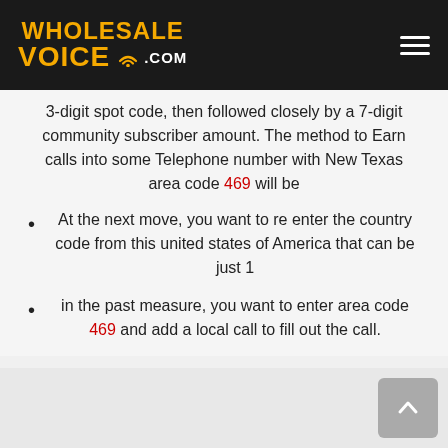WHOLESALE VOICE .com
3-digit spot code, then followed closely by a 7-digit community subscriber amount. The method to Earn calls into some Telephone number with New Texas area code 469 will be
At the next move, you want to re enter the country code from this united states of America that can be just 1
in the past measure, you want to enter area code 469 and add a local call to fill out the call.